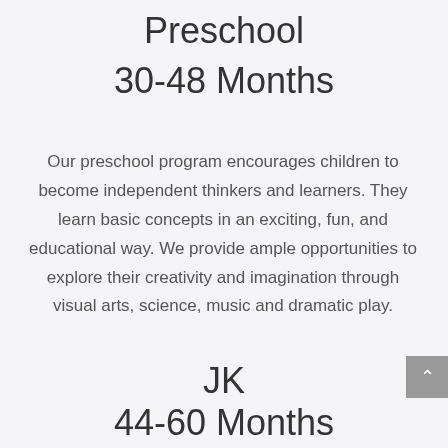Preschool
30-48 Months
Our preschool program encourages children to become independent thinkers and learners. They learn basic concepts in an exciting, fun, and educational way. We provide ample opportunities to explore their creativity and imagination through visual arts, science, music and dramatic play.
JK
44-60 Months